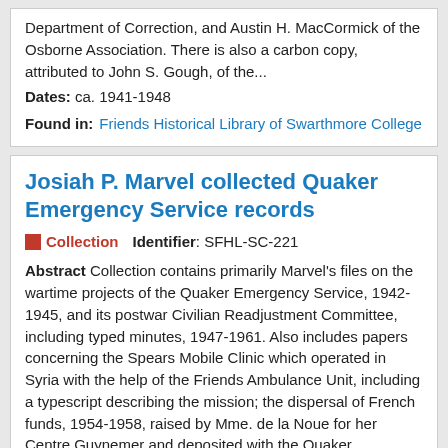Department of Correction, and Austin H. MacCormick of the Osborne Association. There is also a carbon copy, attributed to John S. Gough, of the...
Dates: ca. 1941-1948
Found in: Friends Historical Library of Swarthmore College
Josiah P. Marvel collected Quaker Emergency Service records
Collection   Identifier: SFHL-SC-221
Abstract Collection contains primarily Marvel's files on the wartime projects of the Quaker Emergency Service, 1942-1945, and its postwar Civilian Readjustment Committee, including typed minutes, 1947-1961. Also includes papers concerning the Spears Mobile Clinic which operated in Syria with the help of the Friends Ambulance Unit, including a typescript describing the mission; the dispersal of French funds, 1954-1958, raised by Mme. de la Noue for her Centre Guynemer and deposited with the Quaker...